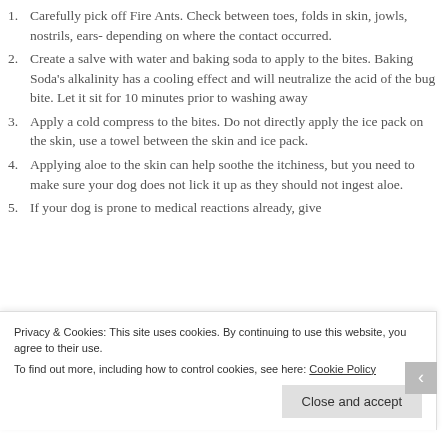Carefully pick off Fire Ants. Check between toes, folds in skin, jowls, nostrils, ears- depending on where the contact occurred.
Create a salve with water and baking soda to apply to the bites. Baking Soda’s alkalinity has a cooling effect and will neutralize the acid of the bug bite. Let it sit for 10 minutes prior to washing away
Apply a cold compress to the bites. Do not directly apply the ice pack on the skin, use a towel between the skin and ice pack.
Applying aloe to the skin can help soothe the itchiness, but you need to make sure your dog does not lick it up as they should not ingest aloe.
If your dog is prone to medical reactions already, give
Privacy & Cookies: This site uses cookies. By continuing to use this website, you agree to their use. To find out more, including how to control cookies, see here: Cookie Policy
Close and accept